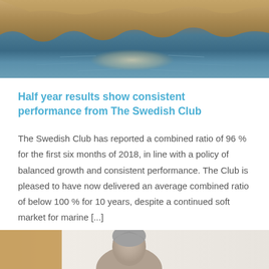[Figure (photo): Coastal cliff and water scene viewed from above, showing rocky cliffs and shimmering water with light reflection in the middle]
Half year results show consistent performance from The Swedish Club
The Swedish Club has reported a combined ratio of 96 % for the first six months of 2018, in line with a policy of balanced growth and consistent performance. The Club is pleased to have now delivered an average combined ratio of below 100 % for 10 years, despite a continued soft market for marine [...]
[Figure (photo): Partial photo of a person, likely a portrait, visible at bottom of page]